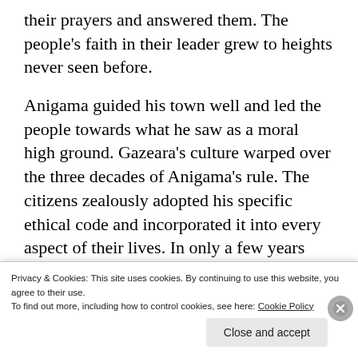their prayers and answered them. The people's faith in their leader grew to heights never seen before.
Anigama guided his town well and led the people towards what he saw as a moral high ground. Gazeara's culture warped over the three decades of Anigama's rule. The citizens zealously adopted his specific ethical code and incorporated it into every aspect of their lives. In only a few years Gazeara bore almost no resemblance to the other city-states of
Privacy & Cookies: This site uses cookies. By continuing to use this website, you agree to their use.
To find out more, including how to control cookies, see here: Cookie Policy